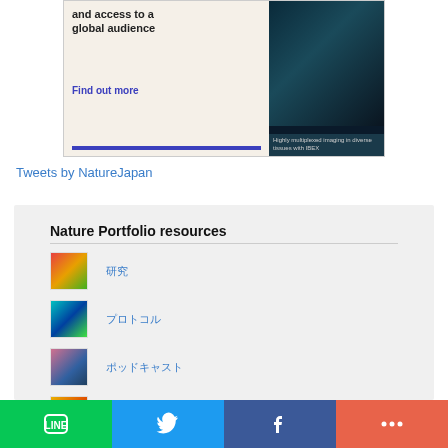[Figure (photo): Advertisement banner for Nature Portfolio with text 'and access to a global audience' and 'Find out more' link, with a dark science microscopy image on the right showing 'Highly multiplexed imaging in diverse tissues with IBEX']
Tweets by NatureJapan
Nature Portfolio resources
研究
プロトコル
ポッドキャスト
ビデオ動画
[Figure (screenshot): Bottom partial resource item thumbnail visible]
[Figure (infographic): Social sharing bar with LINE (green), Twitter (blue), Facebook (dark blue), and More/Plus (orange-red) buttons]